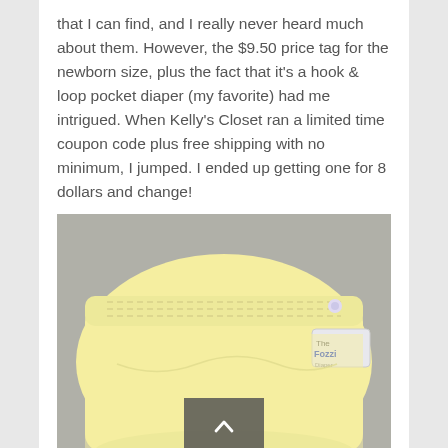that I can find, and I really never heard much about them. However, the $9.50 price tag for the newborn size, plus the fact that it's a hook & loop pocket diaper (my favorite) had me intrigued. When Kelly's Closet ran a limited time coupon code plus free shipping with no minimum, I jumped. I ended up getting one for 8 dollars and change!
[Figure (photo): A pale yellow cloth pocket diaper laid flat, showing elastic waistband and a label tag reading 'Fozzi' or similar brand name on the right side. A dark semi-transparent scroll-up button with a chevron arrow is overlaid at the bottom center of the image.]